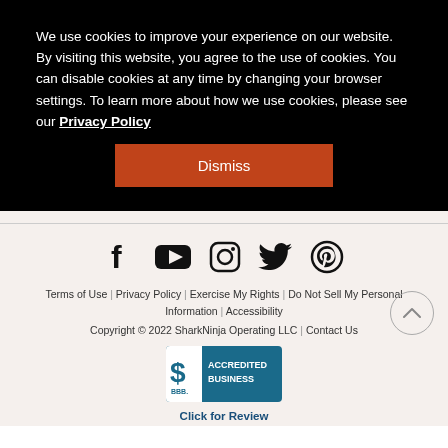We use cookies to improve your experience on our website. By visiting this website, you agree to the use of cookies. You can disable cookies at any time by changing your browser settings. To learn more about how we use cookies, please see our Privacy Policy
Dismiss
[Figure (infographic): Social media icons: Facebook, YouTube, Instagram, Twitter, Pinterest]
Terms of Use | Privacy Policy | Exercise My Rights | Do Not Sell My Personal Information | Accessibility
Copyright © 2022 SharkNinja Operating LLC | Contact Us
[Figure (logo): BBB Accredited Business badge with Click for Review text]